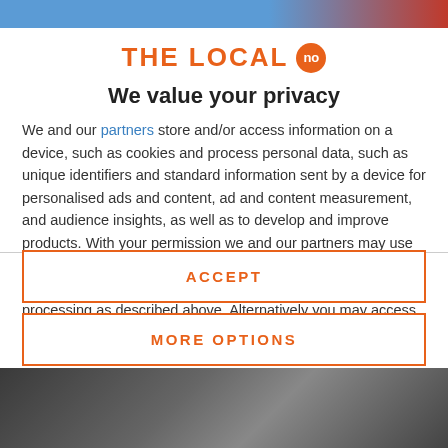[Figure (logo): THE LOCAL no logo with orange text and orange circular badge]
We value your privacy
We and our partners store and/or access information on a device, such as cookies and process personal data, such as unique identifiers and standard information sent by a device for personalised ads and content, ad and content measurement, and audience insights, as well as to develop and improve products. With your permission we and our partners may use precise geolocation data and identification through device scanning. You may click to consent to our and our partners' processing as described above. Alternatively you may access more detailed information and change your preferences before consenting
ACCEPT
MORE OPTIONS